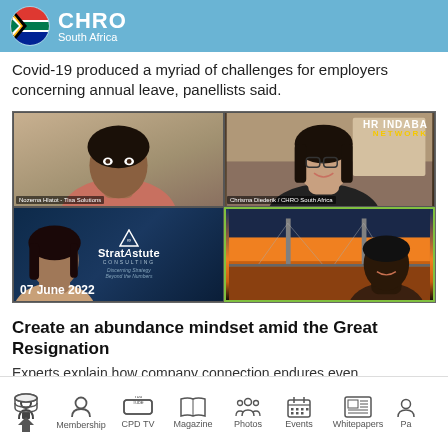CHRO South Africa
Covid-19 produced a myriad of challenges for employers concerning annual leave, panellists said.
[Figure (screenshot): Video call screenshot showing four participants in a 2x2 grid. Top-left: a woman in a floral top. Top-right: a woman with glasses with HR Indaba Network logo. Bottom-left: a woman with Strat Astute Consulting branding and date 07 June 2022. Bottom-right: a man with a bridge/sunset background.]
Create an abundance mindset amid the Great Resignation
Experts explain how company connection endures even
Home  Membership  CPD TV  Magazine  Photos  Events  Whitepapers  Pa